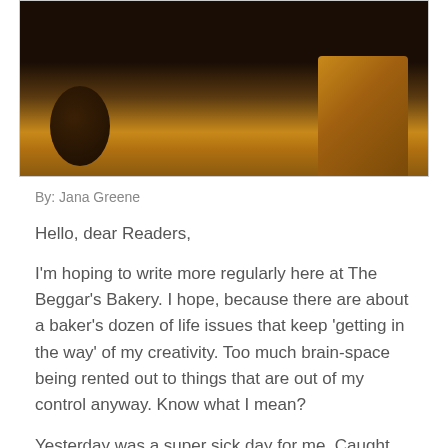[Figure (photo): Dark moody photo showing what appears to be a loaf of bread or rustic baked good with warm amber/golden tones against a dark background]
By: Jana Greene
Hello, dear Readers,
I'm hoping to write more regularly here at The Beggar's Bakery. I hope, because there are about a baker's dozen of life issues that keep 'getting in the way' of my creativity. Too much brain-space being rented out to things that are out of my control anyway. Know what I mean?
Yesterday was a super sick day for me. Caught something sometime in the previous week, and it camped out in my system until I became a blathering lump of self-pity who couldn't get out of bed, even though I really tried. Mind /